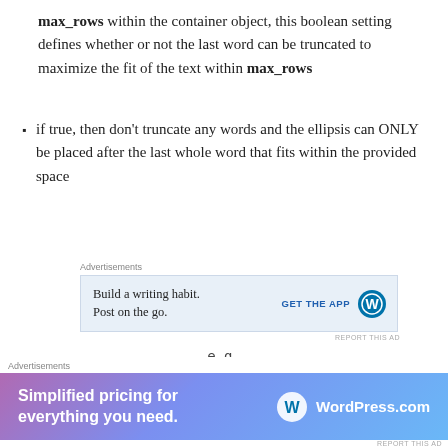max_rows within the container object, this boolean setting defines whether or not the last word can be truncated to maximize the fit of the text within max_rows
if true, then don't truncate any words and the ellipsis can ONLY be placed after the last whole word that fits within the provided space
[Figure (screenshot): Advertisement banner: 'Build a writing habit. Post on the go.' with GET THE APP button and WordPress logo]
e.g.
one time a duck flew
[Figure (screenshot): Bottom advertisement banner: 'Simplified pricing for everything you need.' with WordPress.com logo on gradient background]